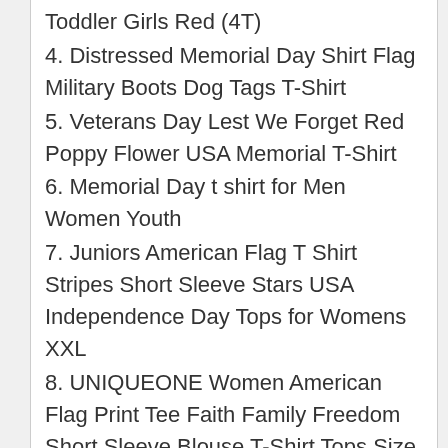Toddler Girls Red (4T)
4. Distressed Memorial Day Shirt Flag Military Boots Dog Tags T-Shirt
5. Veterans Day Lest We Forget Red Poppy Flower USA Memorial T-Shirt
6. Memorial Day t shirt for Men Women Youth
7. Juniors American Flag T Shirt Stripes Short Sleeve Stars USA Independence Day Tops for Womens XXL
8. UNIQUEONE Women American Flag Print Tee Faith Family Freedom Short Sleeve Blouse T-Shirt Tops Size L Gray
9. Kaei&Shi 4Th of July Shirts for Women, Merica Patriotic Tops, Independence Fourth of July Day Tshirt Tee Blue Small, American Flag Tie Dye T Shirt,
10. 4th of july tee womens memorial day shirt patriotic shirt star t glitter fourth of july tee